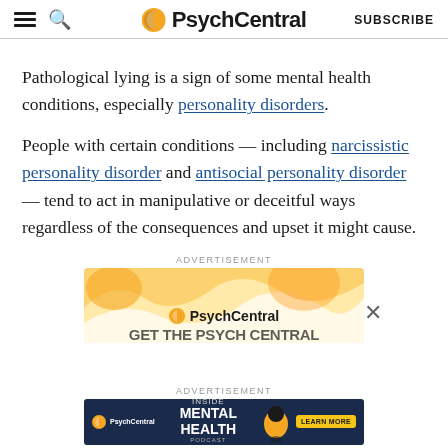PsychCentral | SUBSCRIBE
Pathological lying is a sign of some mental health conditions, especially personality disorders.
People with certain conditions — including narcissistic personality disorder and antisocial personality disorder — tend to act in manipulative or deceitful ways regardless of the consequences and upset it might cause.
[Figure (advertisement): PsychCentral advertisement banner with wavy yellow/orange design showing the PsychCentral logo and partially visible text 'GET THE PSYCH CENTRAL...']
[Figure (advertisement): PsychCentral 'Inside Mental Health Podcast' advertisement on dark blue background with Learn More button]